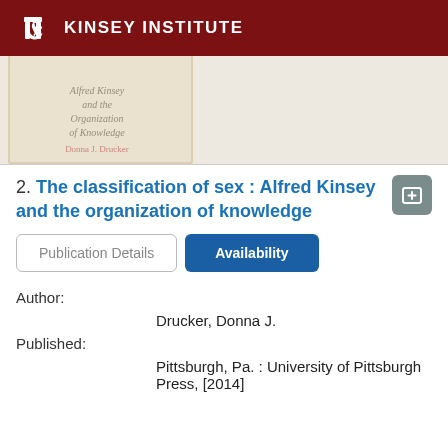KINSEY INSTITUTE
[Figure (illustration): Blurred book cover image showing title 'Alfred Kinsey and the Organization of Knowledge' by Donna J. Drucker]
2. The classification of sex : Alfred Kinsey and the organization of knowledge
Publication Details | Availability
| Field | Value |
| --- | --- |
| Author: | Drucker, Donna J. |
| Published: | Pittsburgh, Pa. : University of Pittsburgh Press, [2014] |